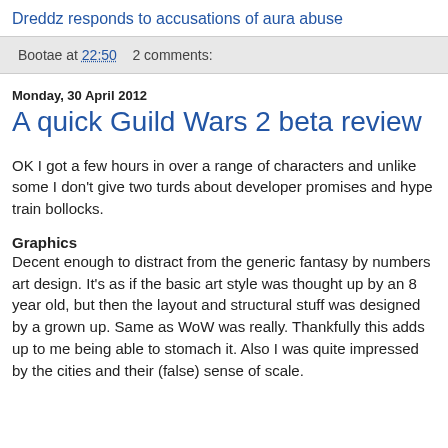Dreddz responds to accusations of aura abuse
Bootae at 22:50    2 comments:
Monday, 30 April 2012
A quick Guild Wars 2 beta review
OK I got a few hours in over a range of characters and unlike some I don't give two turds about developer promises and hype train bollocks.
Graphics
Decent enough to distract from the generic fantasy by numbers art design. It's as if the basic art style was thought up by an 8 year old, but then the layout and structural stuff was designed by a grown up. Same as WoW was really. Thankfully this adds up to me being able to stomach it. Also I was quite impressed by the cities and their (false) sense of scale.